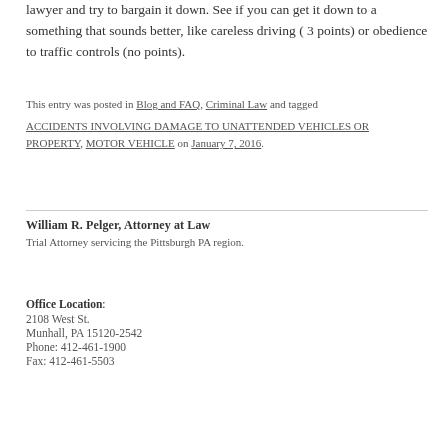an accident. Your offense also carries 4 points. I would hire a lawyer and try to bargain it down. See if you can get it down to a something that sounds better, like careless driving ( 3 points) or obedience to traffic controls (no points).
This entry was posted in Blog and FAQ, Criminal Law and tagged ACCIDENTS INVOLVING DAMAGE TO UNATTENDED VEHICLES OR PROPERTY, MOTOR VEHICLE on January 7, 2016.
William R. Pelger, Attorney at Law
Trial Attorney servicing the Pittsburgh PA region.
Office Location:
2108 West St.
Munhall, PA 15120-2542
Phone: 412-461-1900
Fax: 412-461-5503